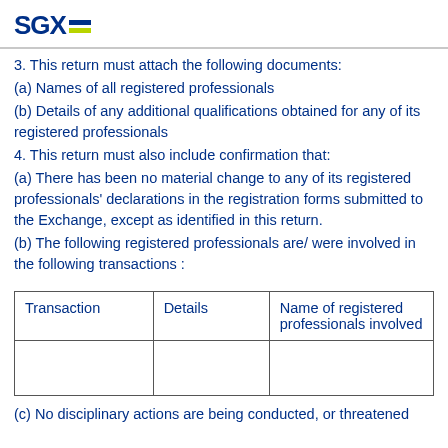SGX
3. This return must attach the following documents:
(a) Names of all registered professionals
(b) Details of any additional qualifications obtained for any of its registered professionals
4. This return must also include confirmation that:
(a) There has been no material change to any of its registered professionals' declarations in the registration forms submitted to the Exchange, except as identified in this return.
(b) The following registered professionals are/ were involved in the following transactions :
| Transaction | Details | Name of registered professionals involved |
| --- | --- | --- |
|  |  |  |
(c) No disciplinary actions are being conducted, or threatened